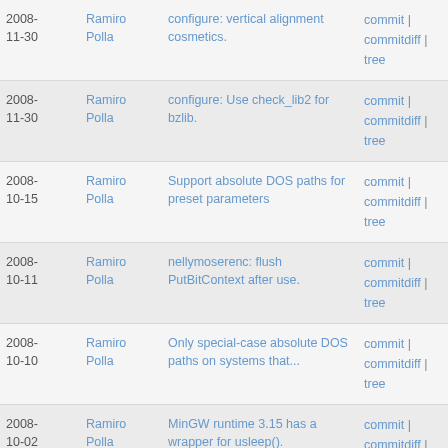| Date | Author | Message | Actions |
| --- | --- | --- | --- |
| 2008-11-30 | Ramiro Polla | configure: vertical alignment cosmetics. | commit | commitdiff | tree |
| 2008-11-30 | Ramiro Polla | configure: Use check_lib2 for bzlib. | commit | commitdiff | tree |
| 2008-10-15 | Ramiro Polla | Support absolute DOS paths for preset parameters | commit | commitdiff | tree |
| 2008-10-11 | Ramiro Polla | nellymoserenc: flush PutBitContext after use. | commit | commitdiff | tree |
| 2008-10-10 | Ramiro Polla | Only special-case absolute DOS paths on systems that... | commit | commitdiff | tree |
| 2008-10-02 | Ramiro Polla | MinGW runtime 3.15 has a wrapper for usleep(). | commit | commitdiff | tree |
| 2008-10-02 | Ramiro Polla | Specify minimum version for some MinGW packages... | commit | commitdiff | |